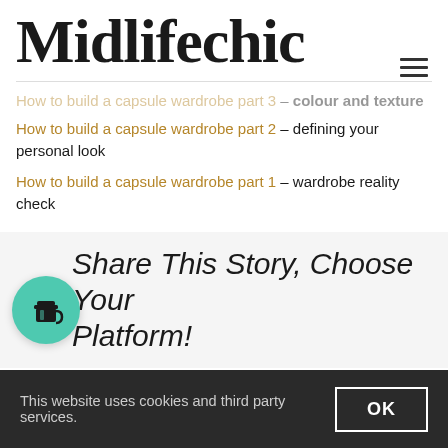Midlifechic
How to build a capsule wardrobe part 3 – colour and texture
How to build a capsule wardrobe part 2 – defining your personal look
How to build a capsule wardrobe part 1 – wardrobe reality check
[Figure (illustration): Teal circular button with a coffee cup icon]
Share This Story, Choose Your Platform!
This website uses cookies and third party services.